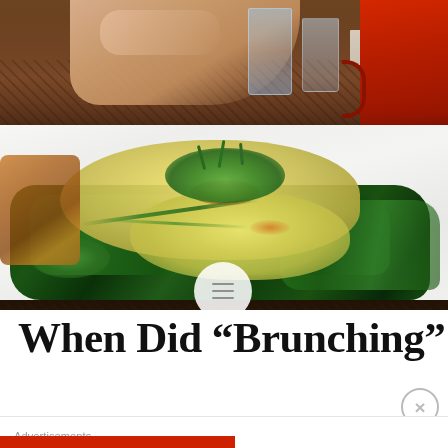[Figure (photo): Food photo showing eggs benedict or similar brunch dish with hollandaise sauce, sautéed greens/spinach, microgreens garnish, on a white plate. Red mug visible in top right corner. Person's hand visible in upper portion. A circular menu icon overlay is visible in the lower portion of the photo.]
When Did “Brunching”
Advertisements